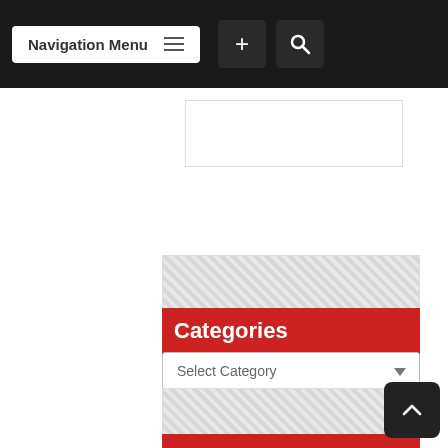Navigation Menu
Categories
Select Category
CALENDAR
August 2022
| S | M | T | W | T | F | S |
| --- | --- | --- | --- | --- | --- | --- |
|  |  |  |  |  |  |  |